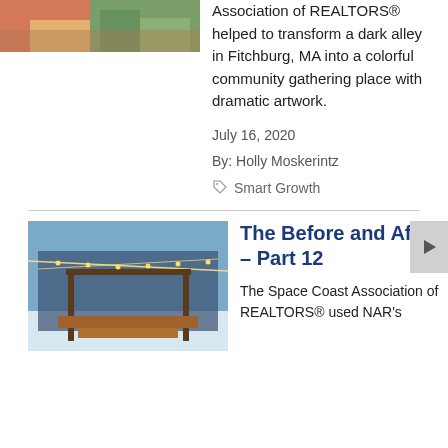[Figure (photo): Top partial image of a colorful alley/community space in Fitchburg, MA]
Association of REALTORS® helped to transform a dark alley in Fitchburg, MA into a colorful community gathering place with dramatic artwork.
July 16, 2020
By: Holly Moskerintz
Smart Growth
[Figure (photo): Photo of The Before and After – Part 12 article: outdoor space with string lights, pergola, and wooden seating at dusk]
The Before and After – Part 12
The Space Coast Association of REALTORS® used NAR's